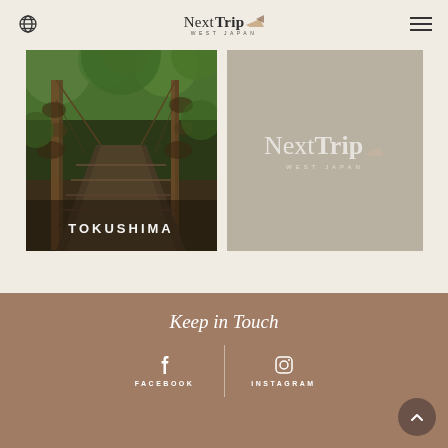NextTrip WEST JAPAN
[Figure (photo): A hanging vine bridge in a lush green forest in Tokushima, Japan, with the text TOKUSHIMA overlaid at the bottom]
[Figure (logo): NextTrip West Japan logo on a beige/taupe background]
Keep in Touch
FACEBOOK
INSTAGRAM